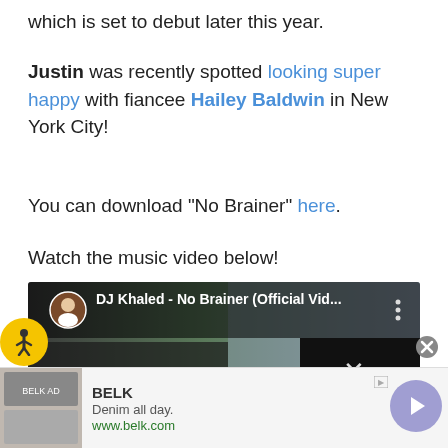which is set to debut later this year.
Justin was recently spotted looking super happy with fiancee Hailey Baldwin in New York City!
You can download "No Brainer" here.
Watch the music video below!
[Figure (screenshot): YouTube video embed showing DJ Khaled - No Brainer (Official Vid... with play button overlay and a small black close/X overlay box in the upper right]
[Figure (other): BELK advertisement banner: Denim all day. www.belk.com with clothing images on the left]